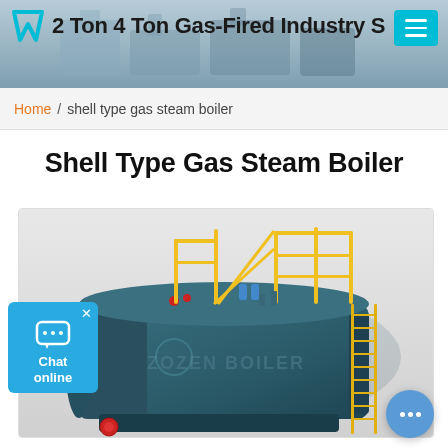2 Ton 4 Ton Gas-Fired Industry S
Home / shell type gas steam boiler
Shell Type Gas Steam Boiler
[Figure (photo): Industrial shell type gas steam boiler unit rendered in teal/dark green, with yellow safety railings and ladder on top, ZOZEN BOILER watermark, manufacturer logo on side.]
Chat online